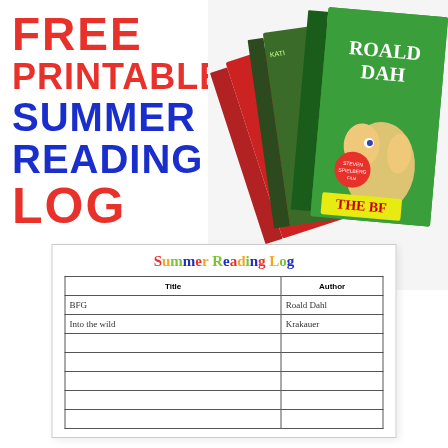FREE PRINTABLE SUMMER READING LOG
[Figure (photo): Stack of books including Roald Dahl's BFG and other children's books, fanned out against a white background]
[Figure (other): Summer Reading Log printable sheet with colorful title and table with columns for Title and Author, filled in with BFG by Roald Dahl and Into the Wild by Krakauer]